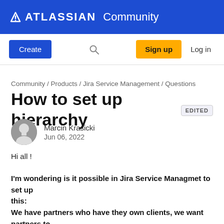Atlassian Community
Create | Search | Sign up | Log in
Community / Products / Jira Service Management / Questions
How to set up hierarchy EDITED
Marcin Krasicki
Jun 06, 2022
Hi all !
I'm wondering is it possible in Jira Service Managmet to set up this:
We have partners who have they own clients, we want partners to